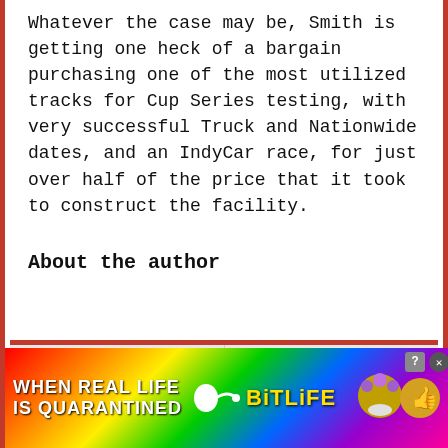Whatever the case may be, Smith is getting one heck of a bargain purchasing one of the most utilized tracks for Cup Series testing, with very successful Truck and Nationwide dates, and an IndyCar race, for just over half of the price that it took to construct the facility.
About the author
[Figure (screenshot): Author section UI box with a red top border, light gray background, a feather/pen icon on the left half and a copy/document icon on the right half, with a white input box at the bottom center.]
[Figure (screenshot): BitLife advertisement banner with rainbow gradient background, white bold text 'WHEN REAL LIFE IS QUARANTINED', a sperm emoji arrow graphic, BitLife logo in yellow bold text, and emoji characters on the right. Close and help buttons in top right corner.]